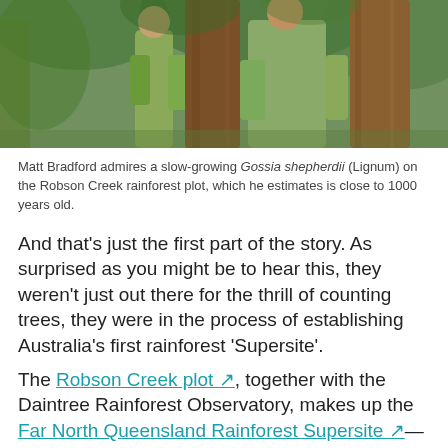[Figure (photo): Two people in khaki/olive clothing in a rainforest, one embracing or standing next to a large tree trunk, with green foliage and another large tree visible in the background.]
Matt Bradford admires a slow-growing Gossia shepherdii (Lignum) on the Robson Creek rainforest plot, which he estimates is close to 1000 years old.
And that's just the first part of the story. As surprised as you might be to hear this, they weren't just out there for the thrill of counting trees, they were in the process of establishing Australia's first rainforest 'Supersite'.
The Robson Creek plot, together with the Daintree Rainforest Observatory, makes up the Far North Queensland Rainforest Supersite—one of ten research Supersites around Australia that form TERN's Australian Supersite Network. Each of the sites in the network has been carefully selected for its ability to